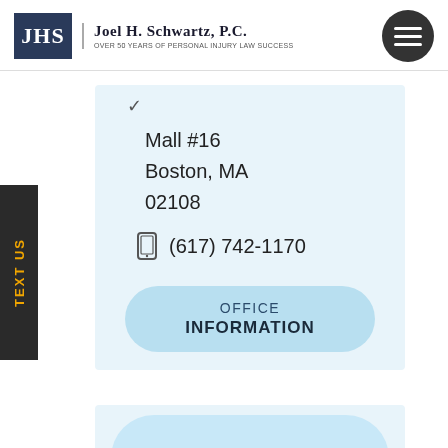[Figure (logo): JHS logo box with firm name Joel H. Schwartz, P.C. and tagline Over 50 Years of Personal Injury Law Success]
Mall #16
Boston, MA
02108
(617) 742-1170
OFFICE
INFORMATION